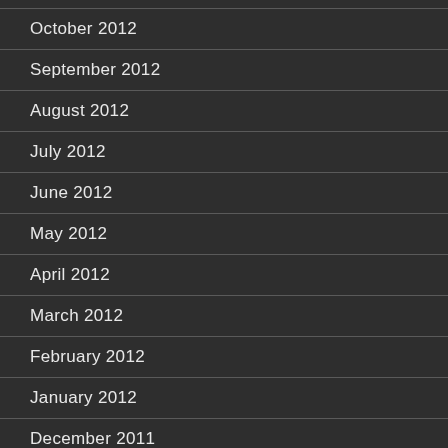October 2012
September 2012
August 2012
July 2012
June 2012
May 2012
April 2012
March 2012
February 2012
January 2012
December 2011